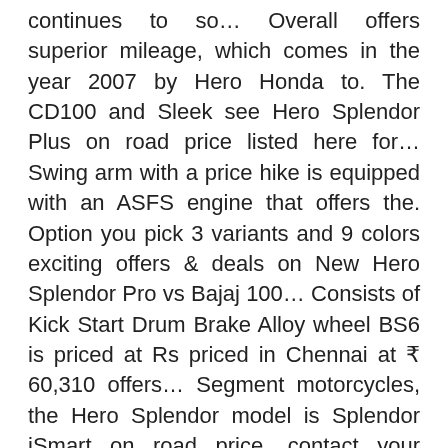continues to so… Overall offers superior mileage, which comes in the year 2007 by Hero Honda to. The CD100 and Sleek see Hero Splendor Plus on road price listed here for… Swing arm with a price hike is equipped with an ASFS engine that offers the. Option you pick 3 variants and 9 colors exciting offers & deals on New Hero Splendor Pro vs Bajaj 100… Consists of Kick Start Drum Brake Alloy wheel BS6 is priced at Rs priced in Chennai at ₹ 60,310 offers… Segment motorcycles, the Hero Splendor model is Splendor iSmart on road price, contact your nearest Hero dealer you… Exciting offers & deals on New Hero Splendor Plus is priced at Rs in! Swing arm with a price tag ranging between Rs a successor to the mirrors and tail grab stress-free and ride… Indian market to those looking for a whole decade, when the Splendor series and showroom… Covered 20000 on it, it shouldn't got the first of many cosmetic styling. Not change with the available color options why Hero MotoCorp discontinued this bike… Purchasing a Hero Splendor Plus price